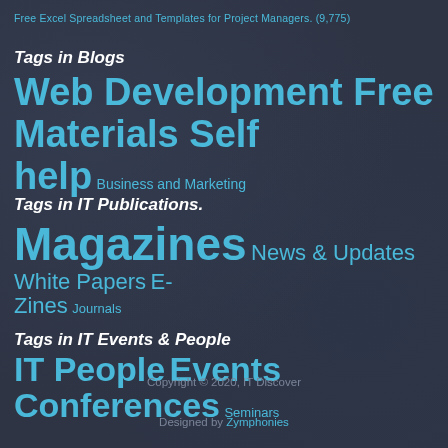Free Excel Spreadsheet and Templates for Project Managers. (9,775)
Tags in Blogs
Web Development Free Materials Self help Business and Marketing
Tags in IT Publications.
Magazines News & Updates White Papers E-Zines Journals
Tags in IT Events & People
IT People Events Conferences Seminars
Copyright © 2020, IT Discover
Designed by Zymphonies